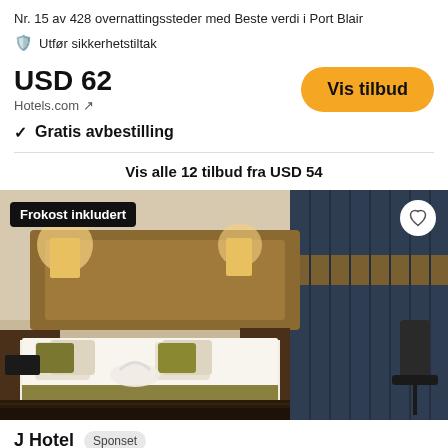Nr. 15 av 428 overnattingssteder med Beste verdi i Port Blair
Utfør sikkerhetstiltak
USD 62
Hotels.com ↗
Vis tilbud
✓ Gratis avbestilling
Vis alle 12 tilbud fra USD 54
[Figure (photo): Hotel room photo showing a large double bed with white linens and olive/gold accent pillows, wooden headboard with built-in lighting, dark curtains with blue and gold stripes on the right, hardwood floor, and an office chair partially visible on the right. A towel swan decoration is placed on the bed.]
Frokost inkludert
J Hotel
Sponset